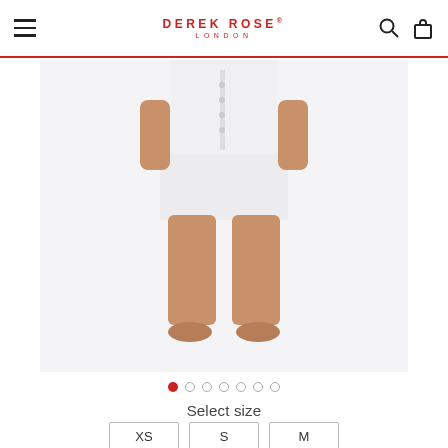DEREK ROSE LONDON
[Figure (photo): Woman wearing white short-sleeve button-front pajama top and white shorts, standing barefoot against a light background. Only the torso down is visible.]
Select size
XS  S  M